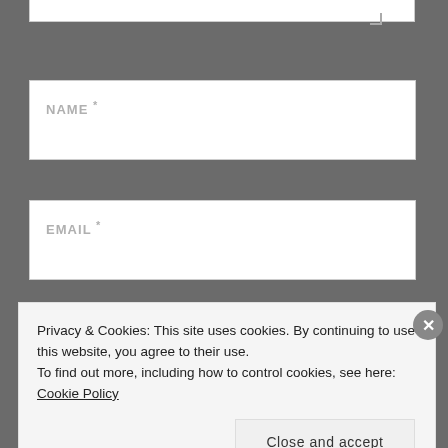NAME *
EMAIL *
WEBSITE
POST COMMENT
Privacy & Cookies: This site uses cookies. By continuing to use this website, you agree to their use.
To find out more, including how to control cookies, see here: Cookie Policy
Close and accept